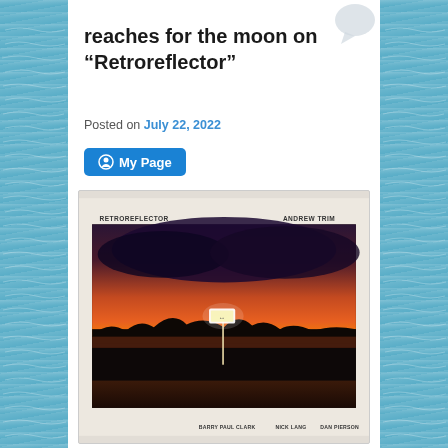reaches for the moon on “Retroreflector”
Posted on July 22, 2022
My Page
[Figure (photo): Album cover for 'Retroreflector' by Andrew Trim. Cream/beige border around a photograph of a sunset scene: dark silhouetted landscape, orange-red sky, a glowing road sign on a pole in the center. Text at top reads 'RETROREFLECTOR' on the left and 'ANDREW TRIM' on the right. Bottom credits read 'BARRY PAUL CLARK   NICK LANG   DAN PIERSON'.]